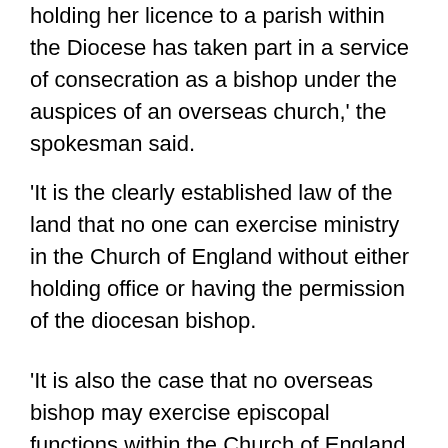holding her licence to a parish within the Diocese has taken part in a service of consecration as a bishop under the auspices of an overseas church,' the spokesman said.
'It is the clearly established law of the land that no one can exercise ministry in the Church of England without either holding office or having the permission of the diocesan bishop.
'It is also the case that no overseas bishop may exercise episcopal functions within the Church of England without the express permission of the Archbishop of the province and a commission from the Bishop of the diocese in which they wish to